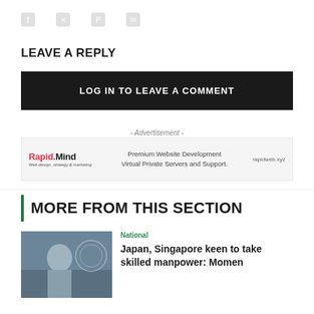[Figure (other): Social media sharing icons: Facebook, Twitter, Pinterest, Email]
LEAVE A REPLY
LOG IN TO LEAVE A COMMENT
- Advertisement -
[Figure (other): Rapid Mind advertisement banner — Premium Website Development, Virtual Private Servers and Support. rapidweb.xyz]
MORE FROM THIS SECTION
[Figure (photo): Photo of a speaker at a podium with a circular logo/banner in background]
National
Japan, Singapore keen to take skilled manpower: Momen